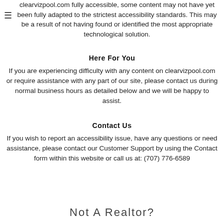clearvizpool.com fully accessible, some content may not have yet been fully adapted to the strictest accessibility standards. This may be a result of not having found or identified the most appropriate technological solution.
Here For You
If you are experiencing difficulty with any content on clearvizpool.com or require assistance with any part of our site, please contact us during normal business hours as detailed below and we will be happy to assist.
Contact Us
If you wish to report an accessibility issue, have any questions or need assistance, please contact our Customer Support by using the Contact form within this website or call us at: (707) 776-6589
Not A Realtor?